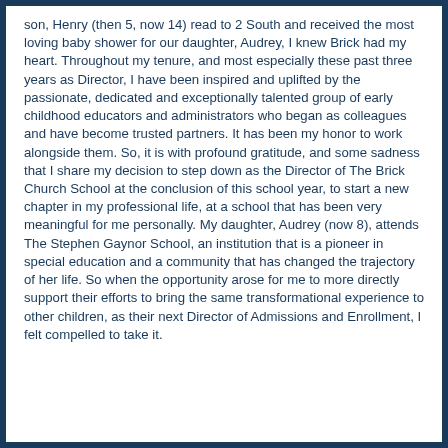son, Henry (then 5, now 14) read to 2 South and received the most loving baby shower for our daughter, Audrey, I knew Brick had my heart. Throughout my tenure, and most especially these past three years as Director, I have been inspired and uplifted by the passionate, dedicated and exceptionally talented group of early childhood educators and administrators who began as colleagues and have become trusted partners. It has been my honor to work alongside them. So, it is with profound gratitude, and some sadness that I share my decision to step down as the Director of The Brick Church School at the conclusion of this school year, to start a new chapter in my professional life, at a school that has been very meaningful for me personally. My daughter, Audrey (now 8), attends The Stephen Gaynor School, an institution that is a pioneer in special education and a community that has changed the trajectory of her life. So when the opportunity arose for me to more directly support their efforts to bring the same transformational experience to other children, as their next Director of Admissions and Enrollment, I felt compelled to take it.